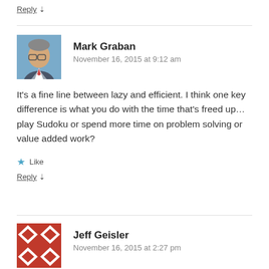Reply ↓
Mark Graban
November 16, 2015 at 9:12 am
It's a fine line between lazy and efficient. I think one key difference is what you do with the time that's freed up… play Sudoku or spend more time on problem solving or value added work?
Like
Reply ↓
Jeff Geisler
November 16, 2015 at 2:27 pm